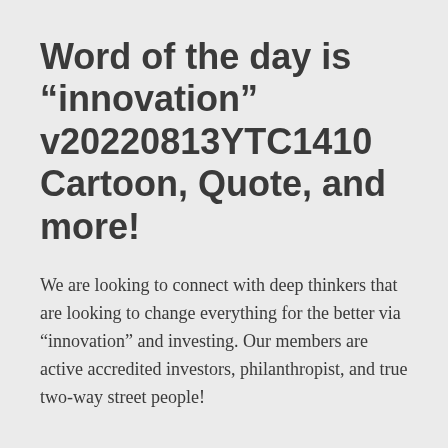Word of the day is “innovation” v20220813YTC1410 Cartoon, Quote, and more!
We are looking to connect with deep thinkers that are looking to change everything for the better via “innovation” and investing. Our members are active accredited investors, philanthropist, and true two-way street people!